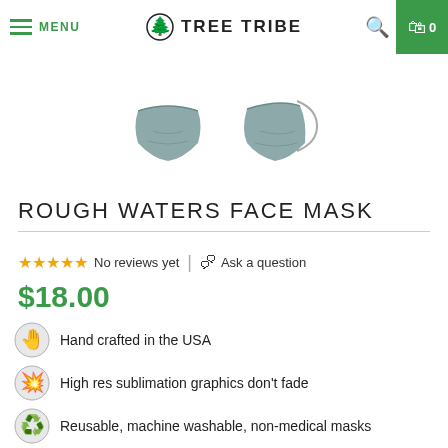MENU | Tree Tribe | Search | Cart 0
[Figure (photo): Two teal/grey face masks shown from front and side angles]
ROUGH WATERS FACE MASK
No reviews yet | Ask a question
$18.00
Hand crafted in the USA
High res sublimation graphics don't fade
Reusable, machine washable, non-medical masks
Tree planted on every purchase